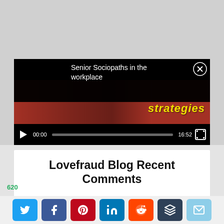[Figure (screenshot): Video player showing 'Senior Sociopaths in the workplace' with black overlay bar, close button (X), video still with red fabric and yellow italic 'strategies' text, and playback controls showing 00:00 / 16:52]
Lovefraud Blog Recent Comments
janekelly83 on Why we comply with the sociopath's demands when we know we
620
[Figure (infographic): Social sharing buttons row: Twitter (blue bird), Facebook (blue f), Pinterest (red P), LinkedIn (blue in), Reddit (orange alien), Buffer (dark stack), Email (teal envelope)]